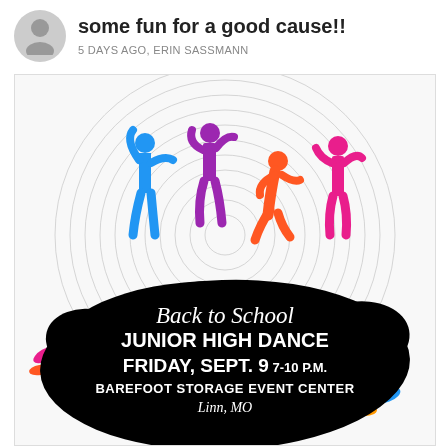some fun for a good cause!!
5 DAYS AGO, ERIN SASSMANN
[Figure (illustration): Back to School Junior High Dance flyer with colorful dancing silhouettes (blue, purple, orange, pink) on a circular pattern background, a black ink splat with event details, and colorful peacock feather decorations. Text reads: Back to School JUNIOR HIGH DANCE FRIDAY, SEPT. 9 7-10 P.M. BAREFOOT STORAGE EVENT CENTER Linn, MO]